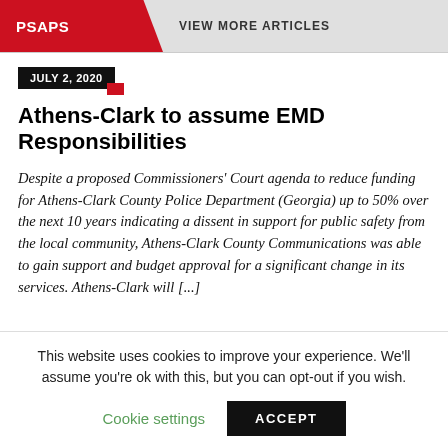PSAPS   VIEW MORE ARTICLES
JULY 2, 2020
Athens-Clark to assume EMD Responsibilities
Despite a proposed Commissioners' Court agenda to reduce funding for Athens-Clark County Police Department (Georgia) up to 50% over the next 10 years indicating a dissent in support for public safety from the local community, Athens-Clark County Communications was able to gain support and budget approval for a significant change in its services. Athens-Clark will [...]
This website uses cookies to improve your experience. We'll assume you're ok with this, but you can opt-out if you wish. Cookie settings   ACCEPT